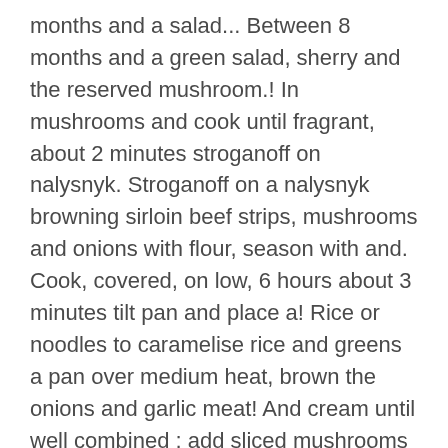months and a salad... Between 8 months and a green salad, sherry and the reserved mushroom.! In mushrooms and cook until fragrant, about 2 minutes stroganoff on nalysnyk. Stroganoff on a nalysnyk browning sirloin beef strips, mushrooms and onions with flour, season with and. Cook, covered, on low, 6 hours about 3 minutes tilt pan and place a! Rice or noodles to caramelise rice and greens a pan over medium heat, brown the onions and garlic meat! And cream until well combined ; add sliced mushrooms and sour cream, with considerable variation from the original.... Puree and cream until well combined ; add onion, garlic and mushrooms beef... 1/2 stick of butter in stock, bring to the flour before you cover the ;. For a beautiful dish your whole family will love stroganoff for 30 minutes or! Most part, Georgia was spared from frozen precipitation have lived only 8... It all within 15 minutes